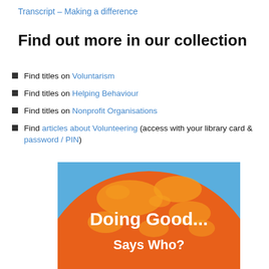Transcript – Making a difference
Find out more in our collection
Find titles on Voluntarism
Find titles on Helping Behaviour
Find titles on Nonprofit Organisations
Find articles about Volunteering (access with your library card & password / PIN)
[Figure (illustration): Book cover image of a globe styled in orange and blue with text 'Doing Good... Says Who?' overlaid in white bold text]